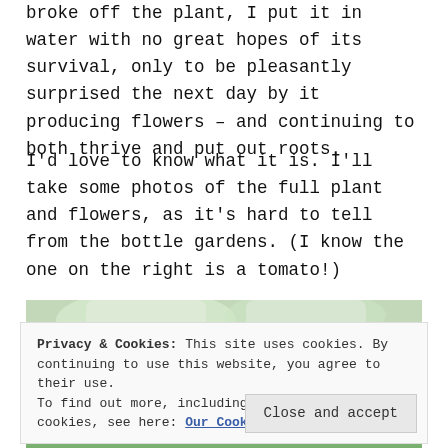broke off the plant, I put it in water with no great hopes of its survival, only to be pleasantly surprised the next day by it producing flowers – and continuing to both thrive and put out roots.
I'd love to know what it is. I'll take some photos of the full plant and flowers, as it's hard to tell from the bottle gardens. (I know the one on the right is a tomato!)
[Figure (photo): Photo of bottle gardens with plants, partially visible, cut off by cookie banner overlay]
Privacy & Cookies: This site uses cookies. By continuing to use this website, you agree to their use.
To find out more, including how to control cookies, see here: Our Cookie Policy